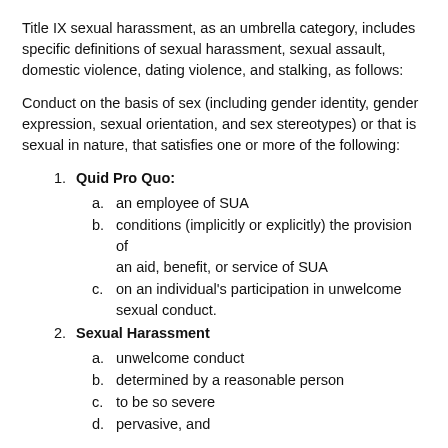Title IX sexual harassment, as an umbrella category, includes specific definitions of sexual harassment, sexual assault, domestic violence, dating violence, and stalking, as follows:
Conduct on the basis of sex (including gender identity, gender expression, sexual orientation, and sex stereotypes) or that is sexual in nature, that satisfies one or more of the following:
1. Quid Pro Quo:
a. an employee of SUA
b. conditions (implicitly or explicitly) the provision of an aid, benefit, or service of SUA
c. on an individual's participation in unwelcome sexual conduct.
2. Sexual Harassment
a. unwelcome conduct
b. determined by a reasonable person
c. to be so severe
d. pervasive, and